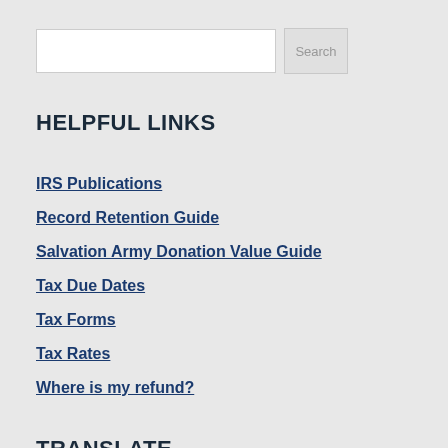HELPFUL LINKS
IRS Publications
Record Retention Guide
Salvation Army Donation Value Guide
Tax Due Dates
Tax Forms
Tax Rates
Where is my refund?
TRANSLATE